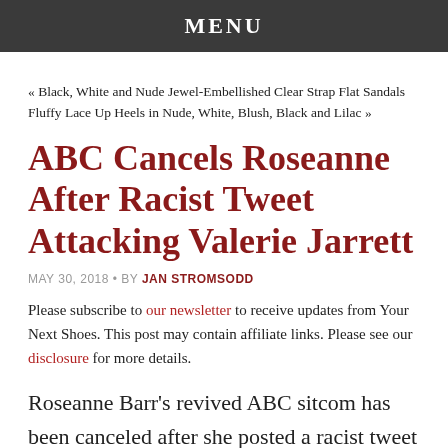MENU
« Black, White and Nude Jewel-Embellished Clear Strap Flat Sandals
Fluffy Lace Up Heels in Nude, White, Blush, Black and Lilac »
ABC Cancels Roseanne After Racist Tweet Attacking Valerie Jarrett
MAY 30, 2018 · BY JAN STROMSODD
Please subscribe to our newsletter to receive updates from Your Next Shoes. This post may contain affiliate links. Please see our disclosure for more details.
Roseanne Barr's revived ABC sitcom has been canceled after she posted a racist tweet that